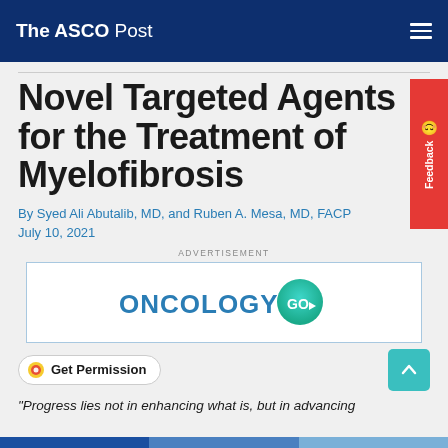The ASCO Post
Novel Targeted Agents for the Treatment of Myelofibrosis
By Syed Ali Abutalib, MD, and Ruben A. Mesa, MD, FACP
July 10, 2021
[Figure (logo): ONCOLOGY GO advertisement logo — blue text 'ONCOLOGY' with a teal/green circle containing a white play button arrow and 'GO' text]
Get Permission
“Progress lies not in enhancing what is, but in advancing